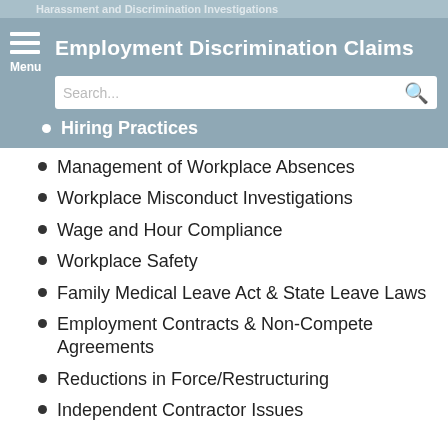Harassment and Discrimination Investigations
Employment Discrimination Claims
Hiring Practices
Management of Workplace Absences
Workplace Misconduct Investigations
Wage and Hour Compliance
Workplace Safety
Family Medical Leave Act & State Leave Laws
Employment Contracts & Non-Compete Agreements
Reductions in Force/Restructuring
Independent Contractor Issues